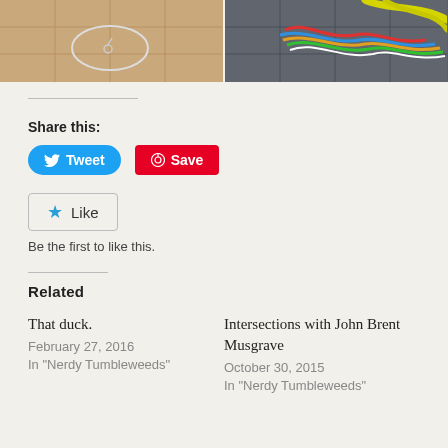[Figure (photo): Two photos side by side at top: left shows a tile floor with a circular object and safety pin; right shows colorful wires/cables on a tile floor.]
Share this:
[Figure (other): Tweet button (blue, rounded) and Save button (red, Pinterest)]
[Figure (other): Like button with star icon]
Be the first to like this.
Related
That duck.
February 27, 2016
In "Nerdy Tumbleweeds"
Intersections with John Brent Musgrave
October 30, 2015
In "Nerdy Tumbleweeds"